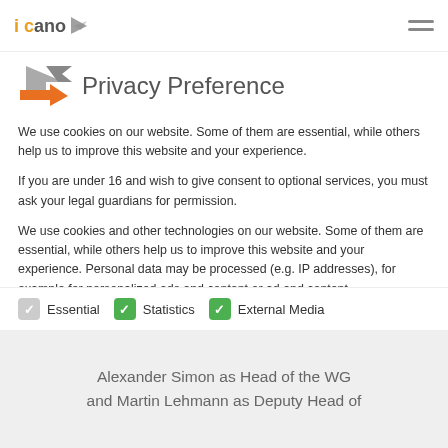ICAOR [logo] [hamburger menu]
[Figure (logo): ICAOR logo with arrow graphic in grey and orange, and hamburger menu icon on right]
Privacy Preference
We use cookies on our website. Some of them are essential, while others help us to improve this website and your experience.
If you are under 16 and wish to give consent to optional services, you must ask your legal guardians for permission.
We use cookies and other technologies on our website. Some of them are essential, while others help us to improve this website and your experience. Personal data may be processed (e.g. IP addresses), for example for personalized ads and content or ad and content...
Essential (grey checkbox checked)
Statistics (green checkbox checked)
External Media (green checkbox checked)
Alexander Simon as Head of the WG and Martin Lehmann as Deputy Head of